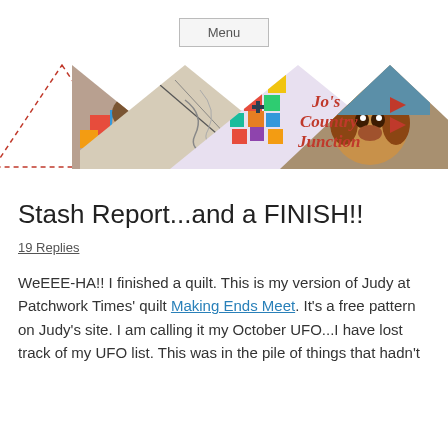Menu
[Figure (illustration): Jo's Country Junction blog header banner with triangular photo collage showing a person lying on a quilt, a close-up of embroidery on fabric, a colorful patchwork quilt, and a beagle dog. Text reads 'Jo's Country Junction' in red italic font to the right.]
Stash Report...and a FINISH!!
19 Replies
WeEEE-HA!!  I finished a quilt.  This is my version of Judy at Patchwork Times' quilt Making Ends Meet.  It's a free pattern on Judy's site.  I am calling it my October UFO...I have lost track of my UFO list.  This was in the pile of things that hadn't